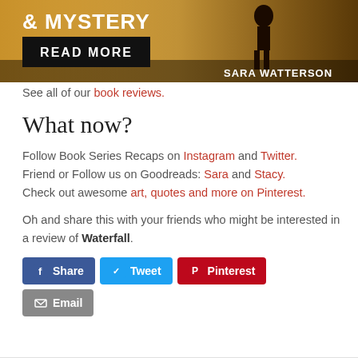[Figure (illustration): Book advertisement banner showing '& MYSTERY' text, a 'READ MORE' button on black background, a figure silhouette on golden/dramatic background, and 'SARA WATTERSON' author name]
See all of our book reviews.
What now?
Follow Book Series Recaps on Instagram and Twitter. Friend or Follow us on Goodreads: Sara and Stacy. Check out awesome art, quotes and more on Pinterest.
Oh and share this with your friends who might be interested in a review of Waterfall.
[Figure (other): Social share buttons: Facebook Share, Twitter Tweet, Pinterest, Email]